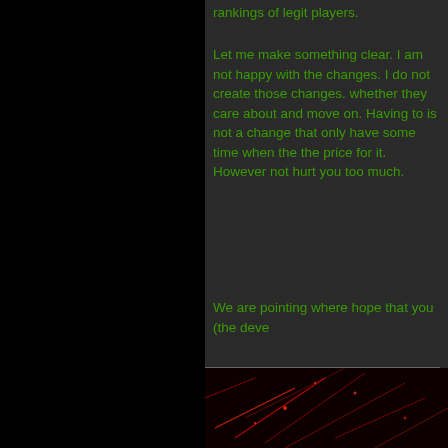rankings of legit players.
Let me make something clear. I am not happy with the changes. I do not agree with them. I did not create those changes. Legit players can decide whether they care about those changes or leave and move on. Having to deal with cheaters/hackers is not a change that only you have to deal with. I have some time when the others that also pay the price for it. However I hope that it will not hurt you too much.
We are pointing where things go wrong in the hope that you (the deve
Again I am going to say I am just a player. I do not control any of the things you are unhappy with this system being implemented. I have dealt with disconnecting, or p system.
[Figure (photo): Dark red/black abstract image, possibly glowing red lines or particles on black background]